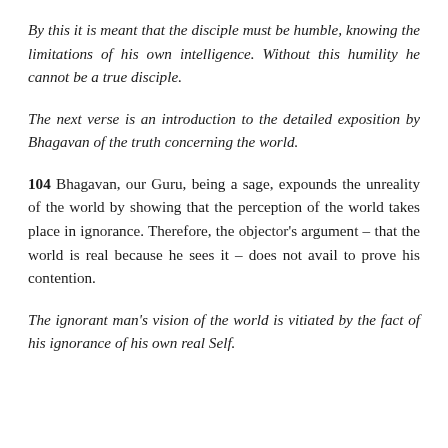By this it is meant that the disciple must be humble, knowing the limitations of his own intelligence. Without this humility he cannot be a true disciple.
The next verse is an introduction to the detailed exposition by Bhagavan of the truth concerning the world.
104 Bhagavan, our Guru, being a sage, expounds the unreality of the world by showing that the perception of the world takes place in ignorance. Therefore, the objector's argument – that the world is real because he sees it – does not avail to prove his contention.
The ignorant man's vision of the world is vitiated by the fact of his ignorance of his own real Self.